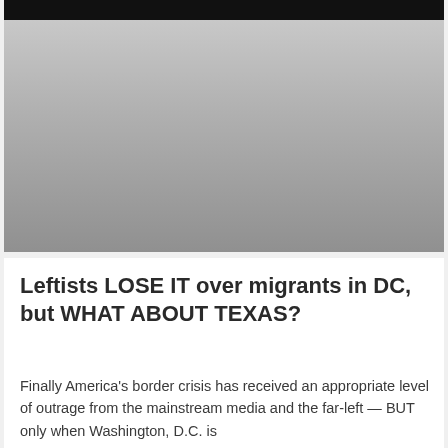[Figure (photo): A partially visible photograph at the top of the page, showing a dark/black strip at the very top and a large gray gradient area below, appearing to be an outdoor or news-related image that is mostly obscured.]
Leftists LOSE IT over migrants in DC, but WHAT ABOUT TEXAS?
Finally America's border crisis has received an appropriate level of outrage from the mainstream media and the far-left — BUT only when Washington, D.C. is